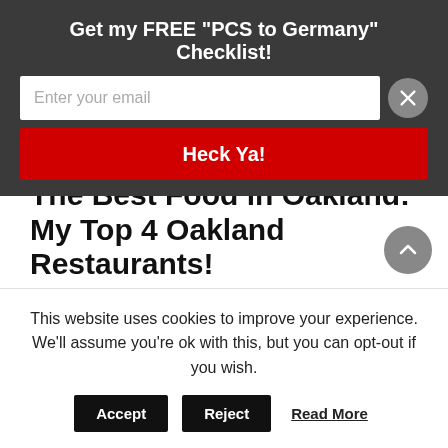Get my FREE "PCS to Germany" Checklist!
[Figure (screenshot): Email input field with placeholder text 'Enter your email' and a close button (X)]
[Figure (screenshot): Red submit button labeled 'Heck Ya!']
The Best Food in Oakland: My Top 4 Oakland Restaurants!
This is not a good video to watch if you're on a diet.
DTV
This website uses cookies to improve your experience. We'll assume you're ok with this, but you can opt-out if you wish.
Accept
Reject
Read More